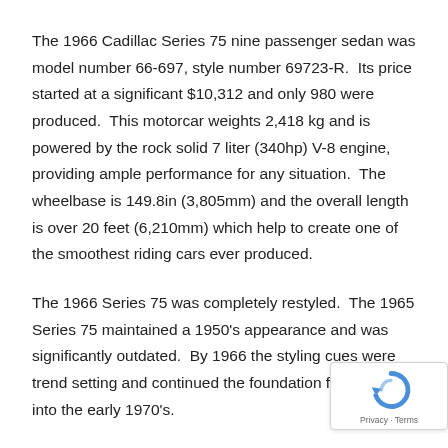The 1966 Cadillac Series 75 nine passenger sedan was model number 66-697, style number 69723-R.  Its price started at a significant $10,312 and only 980 were produced.  This motorcar weights 2,418 kg and is powered by the rock solid 7 liter (340hp) V-8 engine, providing ample performance for any situation.  The wheelbase is 149.8in (3,805mm) and the overall length is over 20 feet (6,210mm) which help to create one of the smoothest riding cars ever produced.
The 1966 Series 75 was completely restyled.  The 1965 Series 75 maintained a 1950's appearance and was significantly outdated.  By 1966 the styling cues were trend setting and continued the foundation for sty well into the early 1970's.